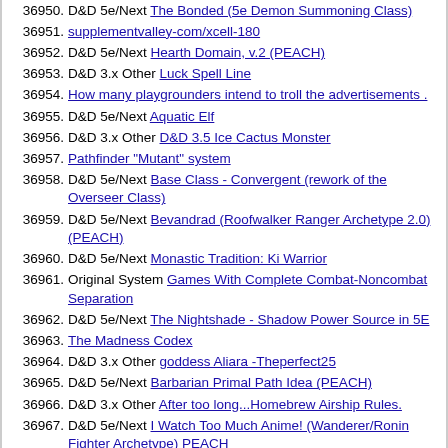36950. D&D 5e/Next The Bonded (5e Demon Summoning Class)
36951. supplementvalley-com/xcell-180
36952. D&D 5e/Next Hearth Domain, v.2 (PEACH)
36953. D&D 3.x Other Luck Spell Line
36954. How many playgrounders intend to troll the advertisements .
36955. D&D 5e/Next Aquatic Elf
36956. D&D 3.x Other D&D 3.5 Ice Cactus Monster
36957. Pathfinder "Mutant" system
36958. D&D 5e/Next Base Class - Convergent (rework of the Overseer Class)
36959. D&D 5e/Next Bevandrad (Roofwalker Ranger Archetype 2.0) (PEACH)
36960. D&D 5e/Next Monastic Tradition: Ki Warrior
36961. Original System Games With Complete Combat-Noncombat Separation
36962. D&D 5e/Next The Nightshade - Shadow Power Source in 5E
36963. The Madness Codex
36964. D&D 3.x Other goddess Aliara -Theperfect25
36965. D&D 5e/Next Barbarian Primal Path Idea (PEACH)
36966. D&D 3.x Other After too long...Homebrew Airship Rules.
36967. D&D 5e/Next I Watch Too Much Anime! (Wanderer/Ronin Fighter Archetype) PEACH
36968. Original System Need help with a magic system
36969. D&D 5e/Next Monster Features table for Volo's Guide?
36970. D&D 3.x Other Mark of Mind: Homebrew Eberron-Style Dragonmark
36971. D&D 5e/Next ...